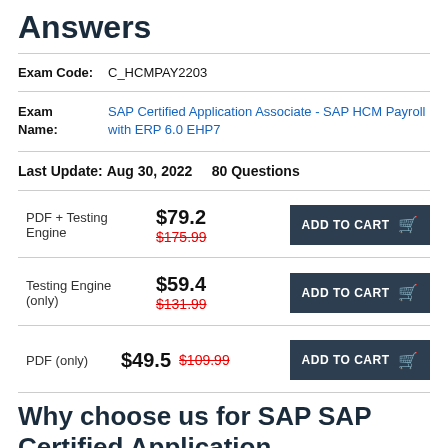Answers
Exam Code: C_HCMPAY2203
Exam Name: SAP Certified Application Associate - SAP HCM Payroll with ERP 6.0 EHP7
Last Update: Aug 30, 2022    80 Questions
PDF + Testing Engine  $79.2  $175.99  ADD TO CART
Testing Engine (only)  $59.4  $131.99  ADD TO CART
PDF (only)  $49.5  $109.99  ADD TO CART
Why choose us for SAP SAP Certified Application